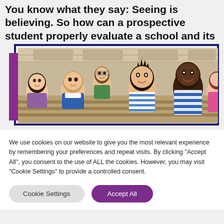You know what they say: Seeing is believing. So how can a prospective student properly evaluate a school and its
[Figure (photo): Group of smiling college students sitting in a lecture hall, diverse group, some with laptops, looking forward attentively. Image has a navy blue border and a purple vertical bar accent on the left side.]
We use cookies on our website to give you the most relevant experience by remembering your preferences and repeat visits. By clicking "Accept All", you consent to the use of ALL the cookies. However, you may visit "Cookie Settings" to provide a controlled consent.
Cookie Settings   Accept All